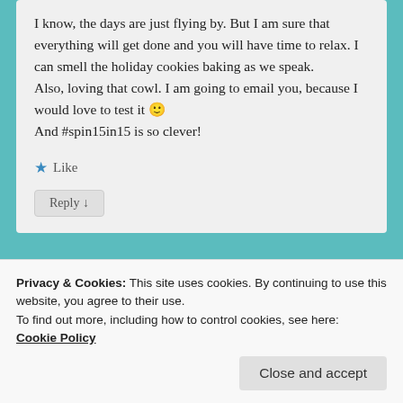I know, the days are just flying by. But I am sure that everything will get done and you will have time to relax. I can smell the holiday cookies baking as we speak. Also, loving that cowl. I am going to email you, because I would love to test it 🙂 And #spin15in15 is so clever!
★ Like
Reply ↓
[Figure (photo): Partially visible avatar/profile image at top of second comment card]
Privacy & Cookies: This site uses cookies. By continuing to use this website, you agree to their use.
To find out more, including how to control cookies, see here: Cookie Policy
Close and accept